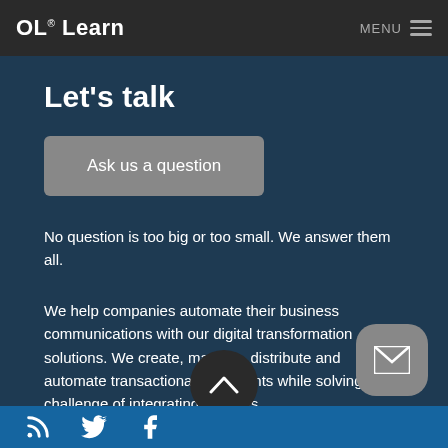OL® Learn  MENU
Let's talk
Ask us a question
No question is too big or too small. We answer them all.
We help companies automate their business communications with our digital transformation solutions. We create, manage, distribute and automate transactional documents while solving the challenge of integrating systems.
Social media icons: RSS, Twitter, Facebook